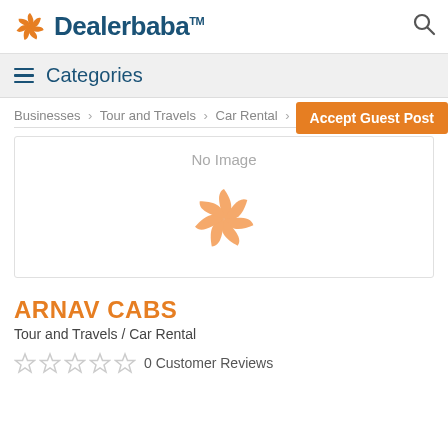Dealerbaba
Categories
Businesses > Tour and Travels > Car Rental > Details
Accept Guest Post
[Figure (logo): No Image placeholder with Dealerbaba pinwheel logo watermark in orange]
ARNAV CABS
Tour and Travels / Car Rental
0 Customer Reviews